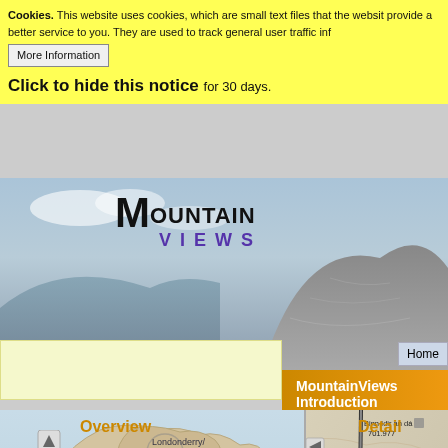Cookies. This website uses cookies, which are small text files that the website provide a better service to you. They are used to track general user traffic information.
More Information
Click to hide this notice for 30 days.
[Figure (screenshot): MountainViews website header with mountain background photo, logo showing 'MountainViews' in bold stylized text, and navigation bar with Home, New, Tracks/Walks, Challenge, Community tabs]
MountainViews Introduction
[Figure (map): Overview map of Ireland showing Londonderry/Derry, Northern Ireland, Galway, Eire/Ireland with topographic overlay and circular markers]
[Figure (map): Detail map showing Binn Idir an da Log 701.977, ios Uachtair area with blue trail route marked]